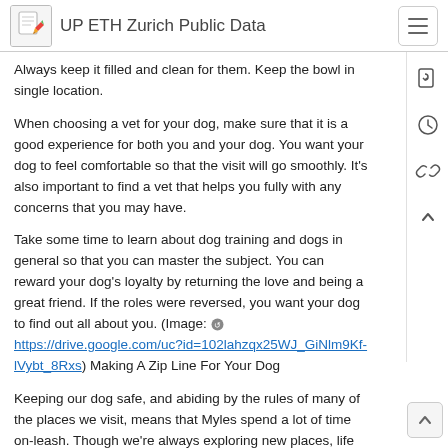UP ETH Zurich Public Data
Always keep it filled and clean for them. Keep the bowl in single location.
When choosing a vet for your dog, make sure that it is a good experience for both you and your dog. You want your dog to feel comfortable so that the visit will go smoothly. It's also important to find a vet that helps you fully with any concerns that you may have.
Take some time to learn about dog training and dogs in general so that you can master the subject. You can reward your dog's loyalty by returning the love and being a great friend. If the roles were reversed, you want your dog to find out all about you. (Image: https://drive.google.com/uc?id=102lahzqx25WJ_GiNlm9Kf-lVybt_8Rxs) Making A Zip Line For Your Dog
Keeping our dog safe, and abiding by the rules of many of the places we visit, means that Myles spend a lot of time on-leash. Though we're always exploring new places, life at the end of a six foot tether doesn't provide him with